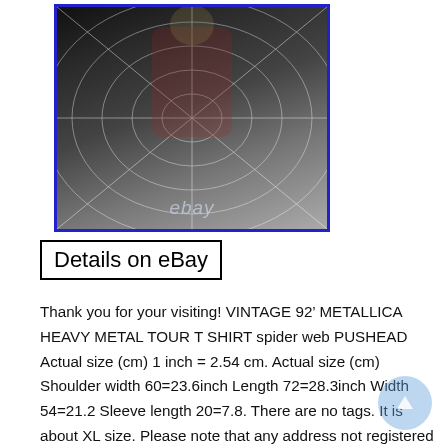[Figure (photo): Photo of a vintage 1992 Metallica Heavy Metal Tour T-shirt with spider web and Pushead design, displayed on a hanger. The shirt is black with intricate white spider web patterns and graphic prints. The image has an eBay watermark at the bottom center. The photo is bordered with a blue rectangle.]
Details on eBay
Thank you for your visiting! VINTAGE 92’ METALLICA HEAVY METAL TOUR T SHIRT spider web PUSHEAD Actual size (cm) 1 inch = 2.54 cm. Actual size (cm) Shoulder width 60=23.6inch Length 72=28.3inch Width 54=21.2 Sleeve length 20=7.8. There are no tags. It is about XL size. Please note that any address not registered in. Returning your package to Japan due to your absence. International Buyers – Please Note. Hello, As I have earned only a few feedbacks, you may be very worried. I will